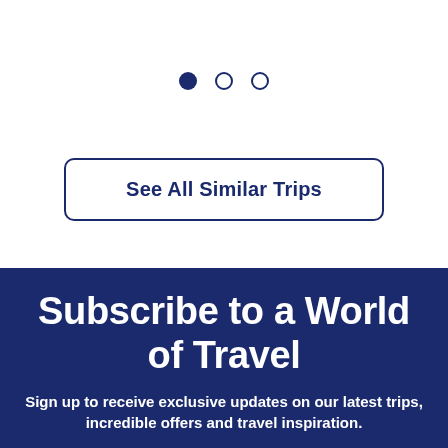[Figure (other): Three pagination dots: one filled dark navy circle and two empty/outline circles]
See All Similar Trips
Subscribe to a World of Travel
Sign up to receive exclusive updates on our latest trips, incredible offers and travel inspiration.